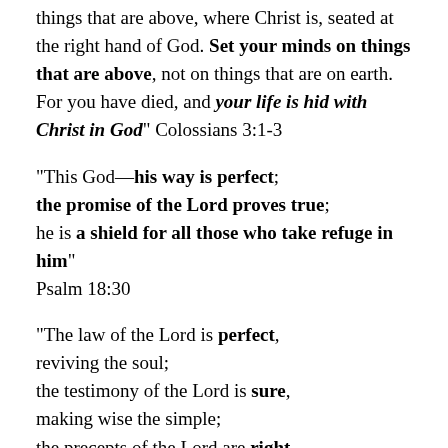things that are above, where Christ is, seated at the right hand of God. Set your minds on things that are above, not on things that are on earth. For you have died, and your life is hid with Christ in God" Colossians 3:1-3
“This God—his way is perfect;
    the promise of the Lord proves true;
    he is a shield for all those who take refuge in him” Psalm 18:30
“The law of the Lord is perfect,
    reviving the soul;
the testimony of the Lord is sure,
    making wise the simple;
the precepts of the Lord are right,
    rejoicing the heart;
the commandment of the Lord is pure,
    enlightening the eyes;